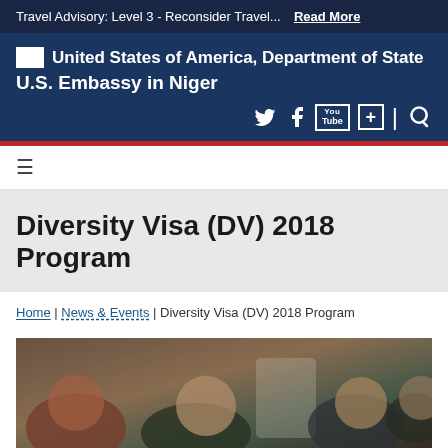Travel Advisory: Level 3 - Reconsider Travel...  Read More
United States of America, Department of State
U.S. Embassy in Niger
≡
Diversity Visa (DV) 2018 Program
Home | News & Events | Diversity Visa (DV) 2018 Program
[Figure (photo): Photograph of a crowd of people, showing faces and upper bodies, taken in what appears to be a waiting area or venue.]